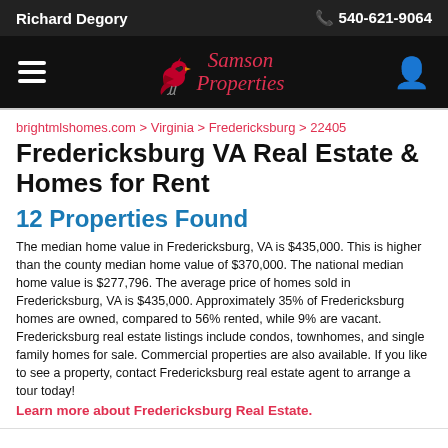Richard Degory | 540-621-9064
[Figure (logo): Samson Properties logo with red cardinal bird and italic red text]
brightmlshomes.com > Virginia > Fredericksburg > 22405
Fredericksburg VA Real Estate & Homes for Rent
12 Properties Found
The median home value in Fredericksburg, VA is $435,000. This is higher than the county median home value of $370,000. The national median home value is $277,796. The average price of homes sold in Fredericksburg, VA is $435,000. Approximately 35% of Fredericksburg homes are owned, compared to 56% rented, while 9% are vacant. Fredericksburg real estate listings include condos, townhomes, and single family homes for sale. Commercial properties are also available. If you like to see a property, contact Fredericksburg real estate agent to arrange a tour today!
Learn more about Fredericksburg Real Estate.